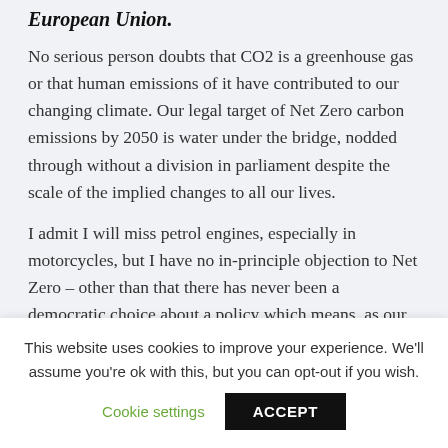European Union.
No serious person doubts that CO2 is a greenhouse gas or that human emissions of it have contributed to our changing climate. Our legal target of Net Zero carbon emissions by 2050 is water under the bridge, nodded through without a division in parliament despite the scale of the implied changes to all our lives.
I admit I will miss petrol engines, especially in motorcycles, but I have no in-principle objection to Net Zero – other than that there has never been a democratic choice about a policy which means, as our Chief Scientist, Patrick Vallance, wrote in the Guardian, "transformation is required at every level of society"
This website uses cookies to improve your experience. We'll assume you're ok with this, but you can opt-out if you wish.